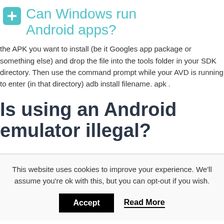Can Windows run Android apps?
the APK you want to install (be it Googles app package or something else) and drop the file into the tools folder in your SDK directory. Then use the command prompt while your AVD is running to enter (in that directory) adb install filename. apk .
Is using an Android emulator illegal?
This website uses cookies to improve your experience. We'll assume you're ok with this, but you can opt-out if you wish.